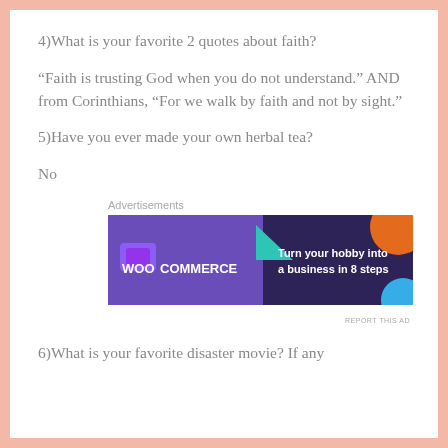4)What is your favorite 2 quotes about faith?
“Faith is trusting God when you do not understand.” AND from Corinthians, “For we walk by faith and not by sight.”
5)Have you ever made your own herbal tea?
No
Advertisements
[Figure (screenshot): WooCommerce advertisement banner: dark purple background with WooCommerce logo on left, green triangle shape, text 'Turn your hobby into a business in 8 steps', orange and blue decorative circles on right]
REPORT THIS AD
6)What is your favorite disaster movie? If any